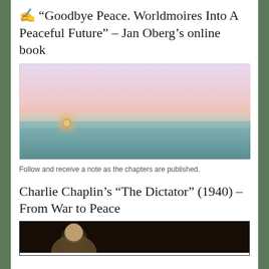✍ “Goodbye Peace. Worldmoires Into A Peaceful Future” – Jan Oberg’s online book
[Figure (photo): A peaceful seascape or landscape at sunset with soft pastel colors — pink and lavender sky, a small orange sun near the horizon over calm teal-blue water or misty terrain.]
Follow and receive a note as the chapters are published.
Charlie Chaplin’s “The Dictator” (1940) – From War to Peace
[Figure (photo): A dark image showing what appears to be a person, partially visible at the bottom of the page, cropped.]